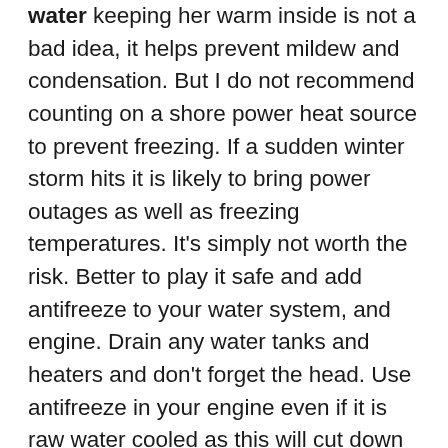water keeping her warm inside is not a bad idea, it helps prevent mildew and condensation. But I do not recommend counting on a shore power heat source to prevent freezing. If a sudden winter storm hits it is likely to bring power outages as well as freezing temperatures. It's simply not worth the risk. Better to play it safe and add antifreeze to your water system, and engine. Drain any water tanks and heaters and don't forget the head. Use antifreeze in your engine even if it is raw water cooled as this will cut down on corrosion. And please let's use bio degradable antifreeze. If you do use an electric heater I recommend the small dehumidifier type such as the GoldenRods. These do not have fans to fail and are in general safer. Whatever type you use remember to keep it high enough to remain out of any bilge water and away from any fabrics or flammable materials.